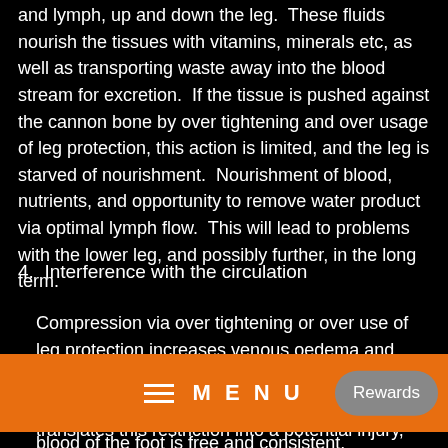and lymph, up and down the leg.  These fluids nourish the tissues with vitamins, minerals etc, as well as transporting waste away into the blood stream for excretion.  If the tissue is pushed against the cannon bone by over tightening and over usage of leg protection, this action is limited, and the leg is starved of nourishment.  Nourishment of blood, nutrients, and opportunity to remove water product via optimal lymph flow.  This will lead to problems with the lower leg, and possibly further, in the long term.
4.  Interference with the circulation
Compression via over tightening or over use of leg protection increases venous oedema and inflammation of the distal structures, in this case the lower leg.  This is because the body translates this restriction into a potential injury, and reacts to
[Figure (screenshot): Orange menu bar overlay with hamburger icon and MENU text, plus a grey Rewards button]
blood of the foot is free and consistent.  Optimal blood flow will